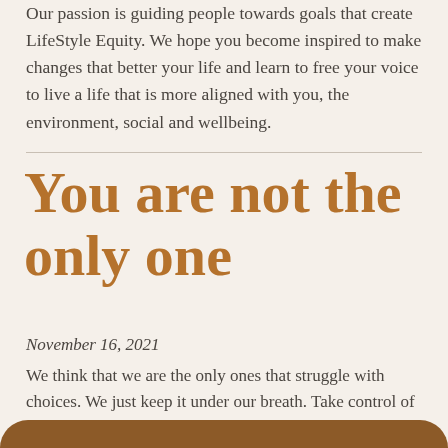Our passion is guiding people towards goals that create LifeStyle Equity. We hope you become inspired to make changes that better your life and learn to free your voice to live a life that is more aligned with you, the environment, social and wellbeing.
You are not the only one
November 16, 2021
We think that we are the only ones that struggle with choices. We just keep it under our breath. Take control of your thoughts and patterns and see your life play out the way you want.